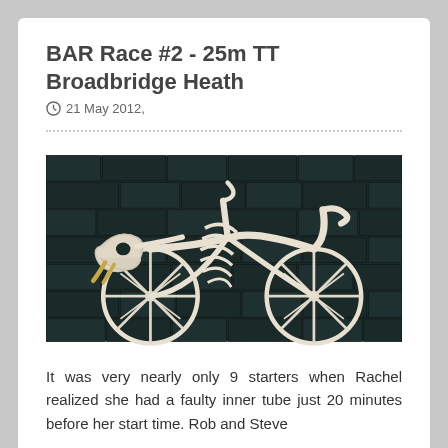BAR Race #2 - 25m TT Broadbridge Heath
21 May 2012,
[Figure (photo): A sculpture of a bicycle made from animal bones and skeleton parts, displayed against a dark stone brick wall background.]
It was very nearly only 9 starters when Rachel realized she had a faulty inner tube just 20 minutes before her start time. Rob and Steve